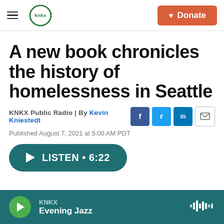KNKX | Donate
A new book chronicles the history of homelessness in Seattle
KNKX Public Radio | By Kevin Kniestedt
Published August 7, 2021 at 5:00 AM PDT
LISTEN • 6:22
KNKX Evening Jazz